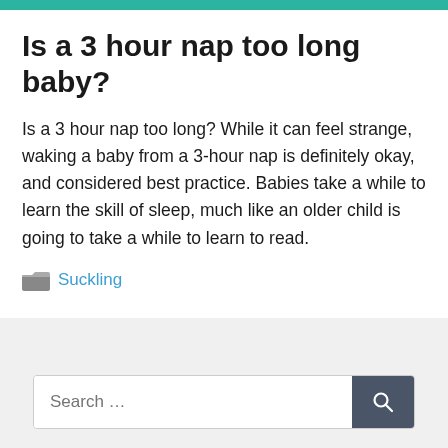Is a 3 hour nap too long baby?
Is a 3 hour nap too long? While it can feel strange, waking a baby from a 3-hour nap is definitely okay, and considered best practice. Babies take a while to learn the skill of sleep, much like an older child is going to take a while to learn to read.
Suckling